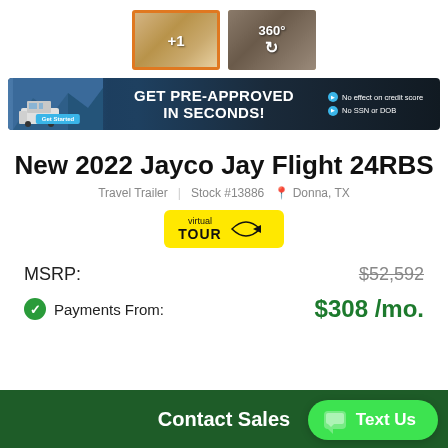[Figure (screenshot): Two thumbnail images of RV interior: first is selected (orange border) showing interior with '+1' label, second shows 360° view option]
[Figure (screenshot): Dark banner advertisement: 'GET PRE-APPROVED IN SECONDS!' with 'Get Started' blue button on left, RV image, and bullet points 'No effect on credit score' and 'No SSN or DOB']
New 2022 Jayco Jay Flight 24RBS
Travel Trailer   Stock #13886   Donna, TX
[Figure (logo): Yellow Virtual TOUR badge with arrow icon]
MSRP: $52,592
Payments From: $308 /mo.
Contact Sales